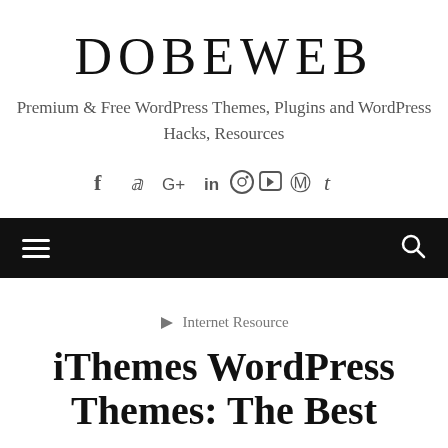DOBEWEB
Premium & Free WordPress Themes, Plugins and WordPress Hacks, Resources
[Figure (infographic): Social media icons row: Facebook (f), Twitter (bird/t), Google+ (G+), LinkedIn (in), Instagram (circle), YouTube (film), Pinterest (P), Tumblr (t)]
Navigation bar with hamburger menu and search icon
Internet Resource
iThemes WordPress Themes: The Best